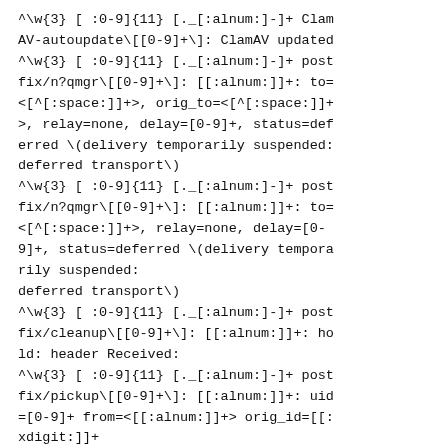^\w{3} [ :0-9]{11} [._[:alnum:]-]+ ClamAV-autoupdate\[[0-9]+\]: ClamAV updated
^\w{3} [ :0-9]{11} [._[:alnum:]-]+ postfix/n?qmgr\[[0-9]+\]: [[:alnum:]]+: to=<[^[:space:]]+>, orig_to=<[^[:space:]]+>, relay=none, delay=[0-9]+, status=deferred \(delivery temporarily suspended: deferred transport\)
^\w{3} [ :0-9]{11} [._[:alnum:]-]+ postfix/n?qmgr\[[0-9]+\]: [[:alnum:]]+: to=<[^[:space:]]+>, relay=none, delay=[0-9]+, status=deferred \(delivery temporarily suspended:
deferred transport\)
^\w{3} [ :0-9]{11} [._[:alnum:]-]+ postfix/cleanup\[[0-9]+\]: [[:alnum:]]+: hold: header Received:
^\w{3} [ :0-9]{11} [._[:alnum:]-]+ postfix/pickup\[[0-9]+\]: [[:alnum:]]+: uid=[0-9]+ from=<[[:alnum:]]+> orig_id=[[:xdigit:]]+
^\w{3} [ :0-9]{11} [._[:alnum:]-]+ MailScanner\[[0-9]+\]: Requeue: [[:xdigi